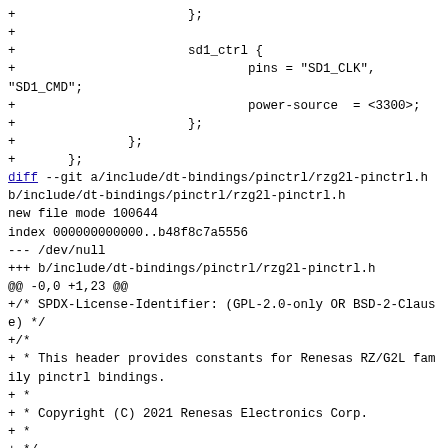+                       };
+
+                       sd1_ctrl {
+                               pins = "SD1_CLK",
"SD1_CMD";
+                               power-source  = <3300>;
+                       };
+               };
+       };
diff --git a/include/dt-bindings/pinctrl/rzg2l-pinctrl.h b/include/dt-bindings/pinctrl/rzg2l-pinctrl.h
new file mode 100644
index 000000000000..b48f8c7a5556
--- /dev/null
+++ b/include/dt-bindings/pinctrl/rzg2l-pinctrl.h
@@ -0,0 +1,23 @@
+/* SPDX-License-Identifier: (GPL-2.0-only OR BSD-2-Clause) */
+/*
+ * This header provides constants for Renesas RZ/G2L family pinctrl bindings.
+ *
+ * Copyright (C) 2021 Renesas Electronics Corp.
+ *
+ */
+
+#ifndef __DT_BINDINGS_RZG2L_PINCTRL_H
+#define __DT_BINDINGS_RZG2L_PINCTRL_H
+
+#define RZG2L_PINS_PER_PORT    8